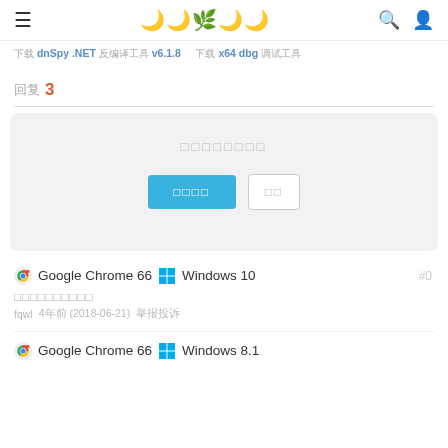≡  🌿  🔍  👤
下载 dnSpy .NET 反编译工具 v6.1.8   下载 x64 dbg 调试工具
回复 3
[Figure (screenshot): Modal dialog box with placeholder text and two buttons: primary blue button and secondary white button with border]
Google Chrome 66  Windows 10
#0
请登录后发表回复
fqwl   4年前 (2018-06-21)   举报投诉
Google Chrome 66  Windows 8.1